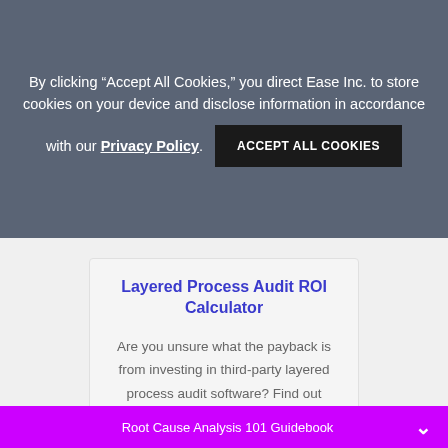By clicking “Accept All Cookies,” you direct Ease Inc. to store cookies on your device and disclose information in accordance with our Privacy Policy. ACCEPT ALL COOKIES
Layered Process Audit ROI Calculator
Are you unsure what the payback is from investing in third-party layered process audit software? Find out your ROI potential and receive a customized PDF report.
Read More
Root Cause Analysis 101 Guidebook